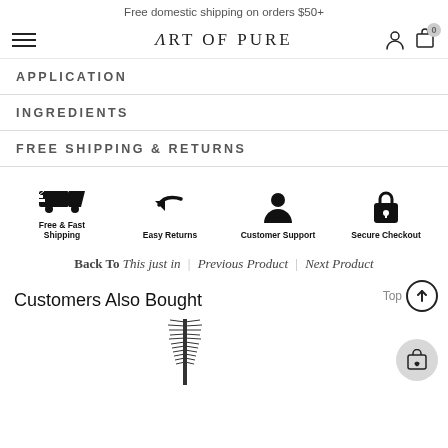Free domestic shipping on orders $50+
[Figure (screenshot): Art of Pure navigation bar with hamburger menu, logo, user icon, and shopping bag icon with 0 badge]
APPLICATION
INGREDIENTS
FREE SHIPPING & RETURNS
[Figure (infographic): Four trust icons: Free & Fast Shipping (truck icon), Easy Returns (return arrow icon), Customer Support (person icon), Secure Checkout (padlock icon)]
Back To This just in | Previous Product | Next Product
Customers Also Bought
[Figure (photo): Mascara wand product image at bottom of page]
[Figure (other): Top button with upward arrow in circle, and cart with heart floating action button]